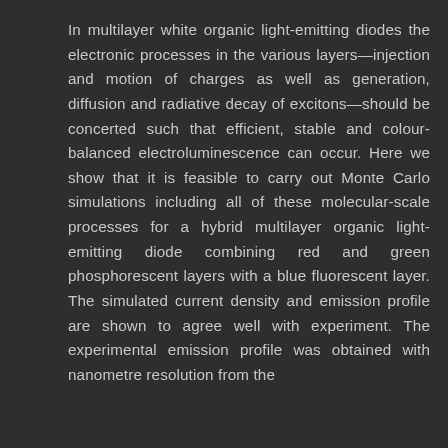In multilayer white organic light-emitting diodes the electronic processes in the various layers—injection and motion of charges as well as generation, diffusion and radiative decay of excitons—should be concerted such that efficient, stable and colour-balanced electroluminescence can occur. Here we show that it is feasible to carry out Monte Carlo simulations including all of these molecular-scale processes for a hybrid multilayer organic light-emitting diode combining red and green phosphorescent layers with a blue fluorescent layer. The simulated current density and emission profile are shown to agree well with experiment. The experimental emission profile was obtained with nanometre resolution from the